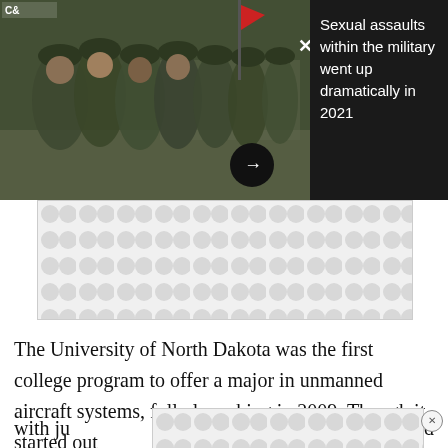[Figure (photo): Military personnel in camouflage uniforms gathered together, with a red flag visible in the background]
Sexual assaults within the military went up dramatically in 2021
[Figure (other): Advertisement placeholder with circular pattern]
The University of North Dakota was the first college program to offer a major in unmanned aircraft systems, fully launching in 2009. Though it started out with ju... led just un...
[Figure (other): Advertisement placeholder with circular pattern]